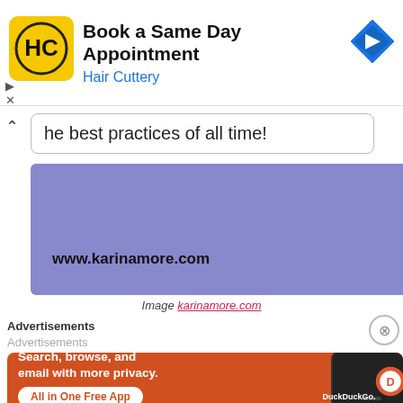[Figure (screenshot): Hair Cuttery advertisement banner with yellow HC logo, title 'Book a Same Day Appointment', subtitle 'Hair Cuttery', and a blue navigation arrow icon on the right]
he best practices of all time!
[Figure (screenshot): Purple/blue colored content block with text 'www.karinamore.com' at the bottom left]
Image karinamore.com
Advertisements
Advertisements
[Figure (screenshot): DuckDuckGo advertisement banner in orange/red color with text 'Search, browse, and email with more privacy. All in One Free App' and DuckDuckGo logo with phone image on right]